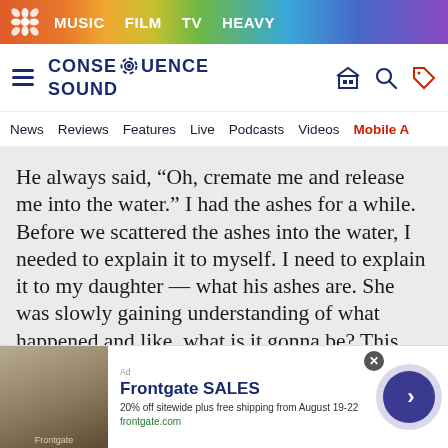MUSIC  FILM  TV  HEAVY
[Figure (logo): Consequence Sound logo with hamburger menu, gear icon, search, and tag icons]
News  Reviews  Features  Live  Podcasts  Videos  Mobile A
He always said, “Oh, cremate me and release me into the water.” I had the ashes for a while. Before we scattered the ashes into the water, I needed to explain it to myself. I need to explain it to my daughter — what his ashes are. She was slowly gaining understanding of what happened and like, what is it gonna be? This physical form of human being is no longer there. But when we feel our memories and his
[Figure (other): Frontgate SALES advertisement banner with outdoor furniture image. Text: Frontgate SALES, 20% off sitewide plus free shipping from August 19-22, frontgate.com]